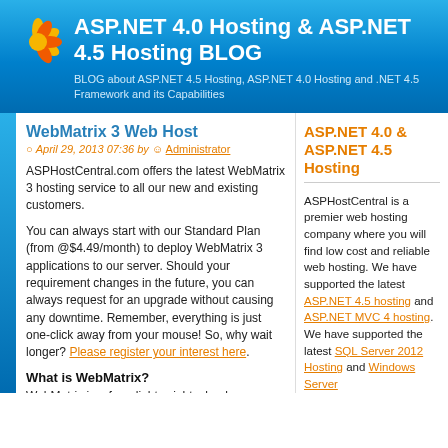ASP.NET 4.0 Hosting & ASP.NET 4.5 Hosting BLOG
BLOG about ASP.NET 4.5 Hosting, ASP.NET 4.0 Hosting and .NET 4.5 Framework and its Capabilities
WebMatrix 3 Web Host
April 29, 2013 07:36 by Administrator
ASPHostCentral.com offers the latest WebMatrix 3 hosting service to all our new and existing customers.
You can always start with our Standard Plan (from @$4.49/month) to deploy WebMatrix 3 applications to our server. Should your requirement changes in the future, you can always request for an upgrade without causing any downtime. Remember, everything is just one-click away from your mouse! So, why wait longer? Please register your interest here.
What is WebMatrix?
WebMatrix is a free, lightweight, cloud-connected web development tool.
Designed for Top Languages
ASP.NET 4.0 & ASP.NET 4.5 Hosting
ASPHostCentral is a premier web hosting company where you will find low cost and reliable web hosting. We have supported the latest ASP.NET 4.5 hosting and ASP.NET MVC 4 hosting. We have supported the latest SQL Server 2012 Hosting and Windows Server